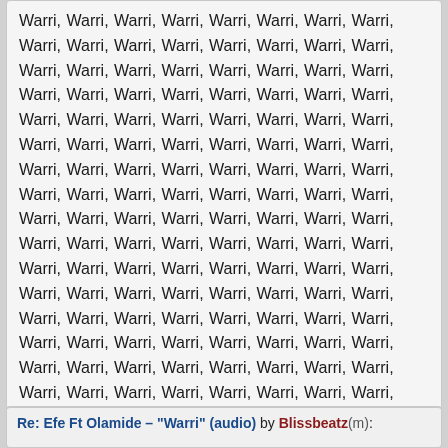Warri, Warri, Warri, Warri, Warri, Warri, Warri, Warri, Warri, Warri, Warri, Warri, Warri, Warri, Warri, Warri, Warri, Warri, Warri, Warri, Warri, Warri, Warri, Warri, Warri, Warri, Warri, Warri, Warri, Warri, Warri, Warri, Warri, Warri, Warri, Warri, Warri, Warri, Warri, Warri, Warri, Warri, Warri, Warri, Warri, Warri, Warri, Warri, Warri, Warri, Warri, Warri, Warri, Warri, Warri, Warri, Warri, Warri, Warri, Warri, Warri, Warri, Warri, Warri, Warri, Warri, Warri, Warri, Warri, Warri, Warri, Warri, Warri, Warri, Warri, Warri, Warri, Warri, Warri, Warri, Warri, Warri, Warri, Warri, Warri, Warri, Warri, Warri, Warri, Warri, Warri, Warri, Warri, Warri, Warri, Warri, Warri, Warri, Warri, Warri, Warri, Warri, Warri, Warri, Warri, Warri, Warri, Warri, Warri, Warri, Warri, Warri, Warri, Warri, Warri, Warri, Warri, Warri, Warri, Warri, Warri, Warri, Warri, Warri, Warri, Warri, Warri, Warri, Warri, Warri, Warri, Warri, Warri, Warri, Warri, Warri, Warri, Warri, Warri, Warri, Warri, Warri, Warri, Warri,
85 Likes 8 Shares
Re: Efe Ft Olamide – "Warri" (audio) by Blissbeatz(m):